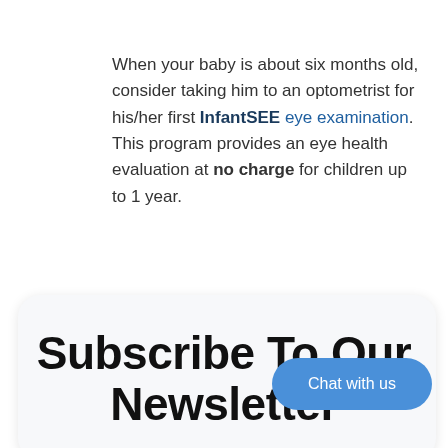When your baby is about six months old, consider taking him to an optometrist for his/her first InfantSEE eye examination. This program provides an eye health evaluation at no charge for children up to 1 year.
Read more
Subscribe To Our Newsletter
[Figure (other): Blue rounded chat button overlay with text 'Chat with us']